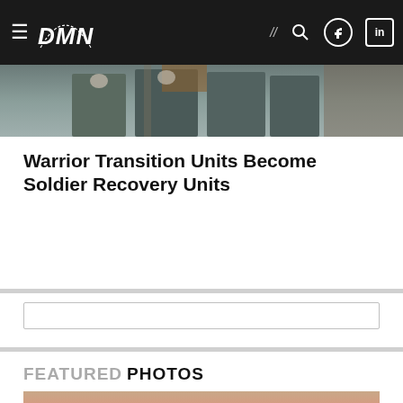DMN navigation bar
[Figure (photo): Soldiers in military uniforms holding a flag, photographed outdoors near a brick building]
Warrior Transition Units Become Soldier Recovery Units
[Figure (other): Search input field]
FEATURED PHOTOS
[Figure (photo): Silhouette of a military aircraft against a sunset sky with orange and pink hues]